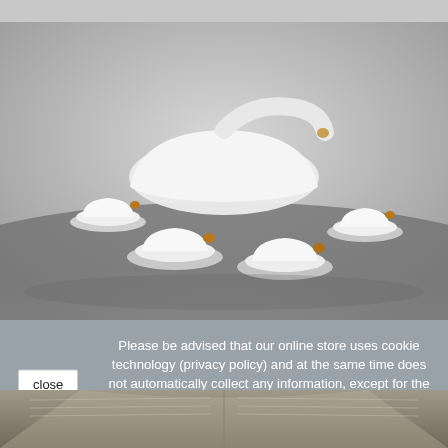[Figure (photo): Top gray bar / partial image strip at top of page]
[Figure (photo): A set of modern white porcelain tea cups and saucers with gold accents arranged on a gray surface, with a large elongated white teapot in the background]
Please be advised that our online store uses cookie technology (privacy policy) and at the same time does not automatically collect any information, except for the information contained in these files (so-called "cookies").
[Figure (photo): Partial view of an open book visible at bottom of page]